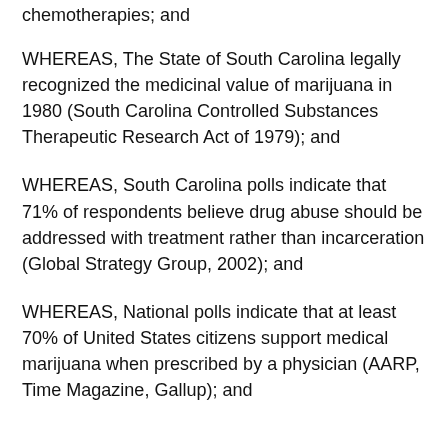chemotherapies; and
WHEREAS, The State of South Carolina legally recognized the medicinal value of marijuana in 1980 (South Carolina Controlled Substances Therapeutic Research Act of 1979); and
WHEREAS, South Carolina polls indicate that 71% of respondents believe drug abuse should be addressed with treatment rather than incarceration (Global Strategy Group, 2002); and
WHEREAS, National polls indicate that at least 70% of United States citizens support medical marijuana when prescribed by a physician (AARP, Time Magazine, Gallup); and